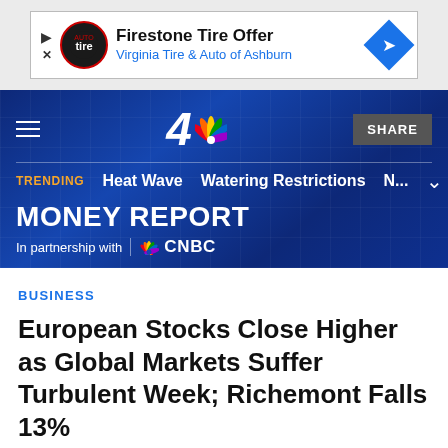[Figure (other): Advertisement banner for Firestone Tire Offer – Virginia Tire & Auto of Ashburn, with logo, play/close buttons, and blue diamond arrow icon]
MONEY REPORT – In partnership with CNBC – NBC4 header with trending bar showing Heat Wave, Watering Restrictions, N...
BUSINESS
European Stocks Close Higher as Global Markets Suffer Turbulent Week; Richemont Falls 13%